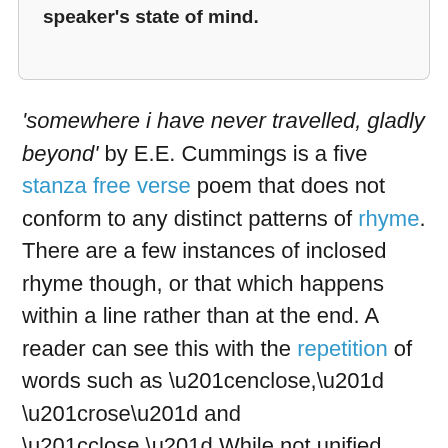speaker's state of mind.
'somewhere i have never travelled, gladly beyond' by E.E. Cummings is a five stanza free verse poem that does not conform to any distinct patterns of rhyme. There are a few instances of inclosed rhyme though, or that which happens within a line rather than at the end. A reader can see this with the repetition of words such as “enclose,” “rose” and “close.” While not unified throughout the text, the majority of lines are written in hexameter, meaning they contain six beats per line.